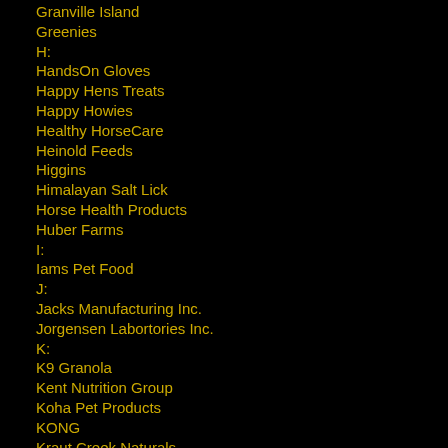Granville Island
Greenies
H:
HandsOn Gloves
Happy Hens Treats
Happy Howies
Healthy HorseCare
Heinold Feeds
Higgins
Himalayan Salt Lick
Horse Health Products
Huber Farms
I:
Iams Pet Food
J:
Jacks Manufacturing Inc.
Jorgensen Labortories Inc.
K:
K9 Granola
Kent Nutrition Group
Koha Pet Products
KONG
Kraut Creek Naturals